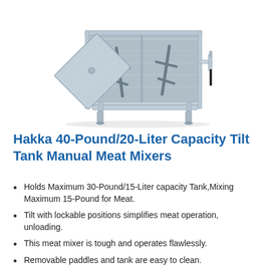[Figure (photo): Stainless steel manual meat mixer with open tilt tank lid, mixing paddles inside, crank handle on the right side, and four adjustable feet. The lid is open revealing the interior with twin mixing blades.]
Hakka 40-Pound/20-Liter Capacity Tilt Tank Manual Meat Mixers
Holds Maximum 30-Pound/15-Liter capacity Tank,Mixing Maximum 15-Pound for Meat.
Tilt with lockable positions simplifies meat operation, unloading.
This meat mixer is tough and operates flawlessly.
Removable paddles and tank are easy to clean.